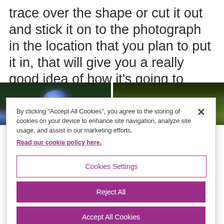trace over the shape or cut it out and stick it on to the photograph in the location that you plan to put it in, that will give you a really good idea of how it’s going to look.
[Figure (photo): Two side-by-side garden photos: left shows a glowing blue spherical light ornament among dark green foliage; right shows green leafy plants with a mossy log.]
By clicking “Accept All Cookies”, you agree to the storing of cookies on your device to enhance site navigation, analyze site usage, and assist in our marketing efforts. Read our cookie policy here.
Cookies Settings
Reject All
Accept All Cookies